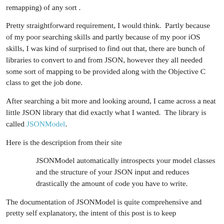remapping) of any sort .
Pretty straightforward requirement, I would think.  Partly because of my poor searching skills and partly because of my poor iOS skills, I was kind of surprised to find out that, there are bunch of libraries to convert to and from JSON, however they all needed some sort of mapping to be provided along with the Objective C class to get the job done.
After searching a bit more and looking around, I came across a neat little JSON library that did exactly what I wanted.  The library is called JSONModel.
Here is the description from their site
JSONModel automatically introspects your model classes and the structure of your JSON input and reduces drastically the amount of code you have to write.
The documentation of JSONModel is quite comprehensive and pretty self explanatory, the intent of this post is to keep